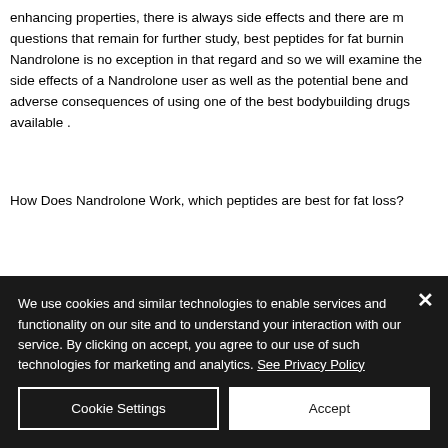enhancing properties, there is always side effects and there are m questions that remain for further study, best peptides for fat burnin Nandrolone is no exception in that regard and so we will examine the side effects of a Nandrolone user as well as the potential bene and adverse consequences of using one of the best bodybuilding drugs available .
How Does Nandrolone Work, which peptides are best for fat loss?
If you are having difficulty Losing Weight or are particularly concer
We use cookies and similar technologies to enable services and functionality on our site and to understand your interaction with our service. By clicking on accept, you agree to our use of such technologies for marketing and analytics. See Privacy Policy
Cookie Settings
Accept